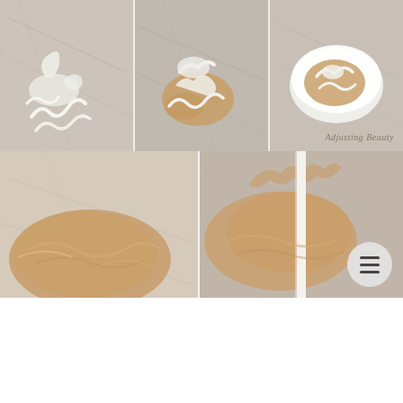[Figure (photo): Three-panel collage showing white and beige foundation/cream being mixed together on a marble surface, with the watermark 'Adjusting Beauty' visible]
When you mix it all up, try it. If you don't like it, add more of what you think it needs.
[Figure (photo): Two-panel image of beige foundation/cream mixed in a white bowl, being stirred with a white spatula, on a marble surface]